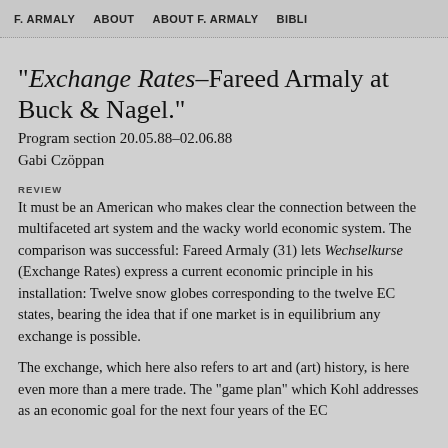F. ARMALY   ABOUT   ABOUT F. ARMALY   BIBLI
“Exchange Rates–Fareed Armaly at Buck & Nagel.”
Program section 20.05.88–02.06.88
Gabi Czöppan
REVIEW
It must be an American who makes clear the connection between the multifaceted art system and the wacky world economic system. The comparison was successful: Fareed Armaly (31) lets Wechselkurse (Exchange Rates) express a current economic principle in his installation: Twelve snow globes corresponding to the twelve EC states, bearing the idea that if one market is in equilibrium any exchange is possible.
The exchange, which here also refers to art and (art) history, is here even more than a mere trade. The “game plan” which Kohl addresses as an economic goal for the next four years of the EC